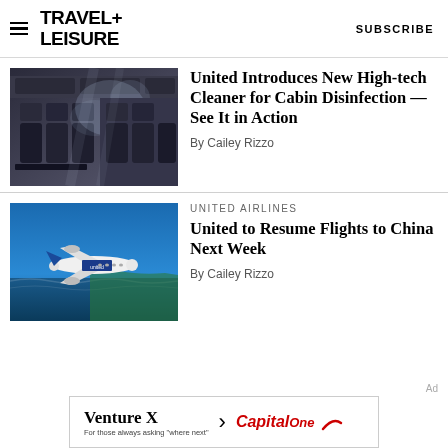TRAVEL+ LEISURE   SUBSCRIBE
[Figure (photo): Interior of an airplane cabin with mist/disinfectant spray visible, dark seats]
United Introduces New High-tech Cleaner for Cabin Disinfection — See It in Action
By Cailey Rizzo
[Figure (photo): United Airlines airplane flying over blue ocean]
UNITED AIRLINES
United to Resume Flights to China Next Week
By Cailey Rizzo
Ad
[Figure (photo): Venture X Capital One advertisement banner]